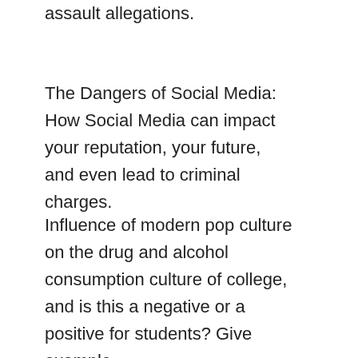assault allegations.
The Dangers of Social Media: How Social Media can impact your reputation, your future, and even lead to criminal charges.
Influence of modern pop culture on the drug and alcohol consumption culture of college, and is this a negative or a positive for students? Give example